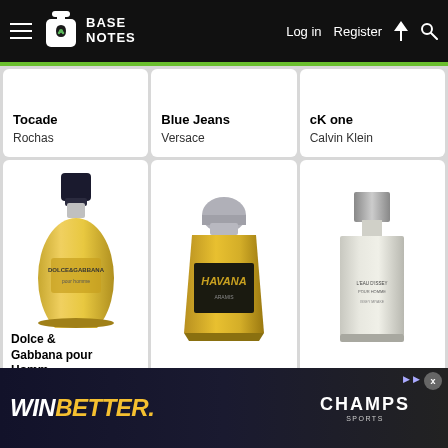BASE NOTES — Log in  Register
Tocade
Rochas
Blue Jeans
Versace
cK one
Calvin Klein
[Figure (photo): Yellow/gold Dolce & Gabbana pour Homme cologne bottle with dark cap]
Dolce & Gabbana pour Homme
Dolce & Gabbana
[Figure (photo): Gold Aramis Havana cologne bottle with dark label]
Havana
Aramis
[Figure (photo): L'Eau d'Issey pour Homme bottle, clear/frosted rectangular design]
L'Eau d'Issey pour Homme
[Figure (infographic): WIN BETTER. CHAMPS Sports advertisement banner overlay]